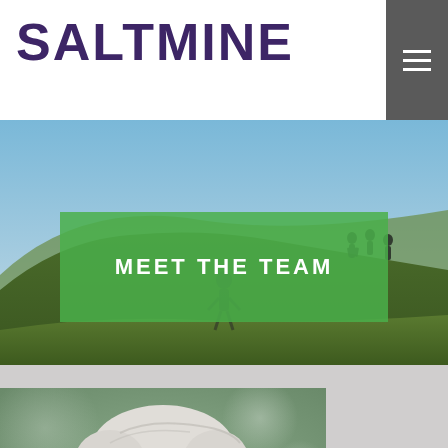SALTMINE
[Figure (screenshot): Navigation menu hamburger icon on dark gray background]
[Figure (photo): Outdoor hillside landscape with people silhouetted against a blue sky, with a green semi-transparent overlay banner reading MEET THE TEAM]
MEET THE TEAM
[Figure (photo): Close-up portrait photo of a person with light/silver hair against a blurred bokeh background]